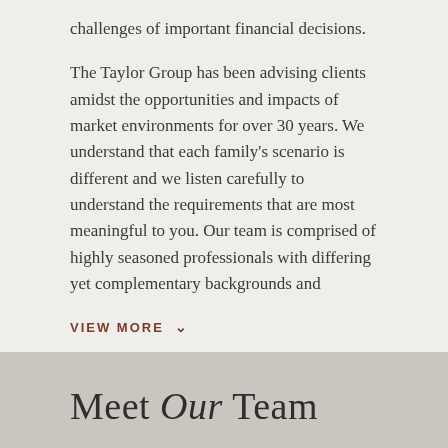challenges of important financial decisions.
The Taylor Group has been advising clients amidst the opportunities and impacts of market environments for over 30 years. We understand that each family's scenario is different and we listen carefully to understand the requirements that are most meaningful to you. Our team is comprised of highly seasoned professionals with differing yet complementary backgrounds and
VIEW MORE ∨
Meet Our Team
[Figure (photo): Partial view of three team member photo boxes: left and right boxes show light beige/cream background placeholder, center box shows a person (partially visible, dark hair) against a gray background.]